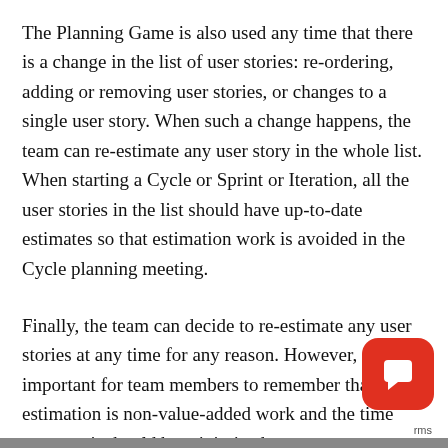The Planning Game is also used any time that there is a change in the list of user stories: re-ordering, adding or removing user stories, or changes to a single user story. When such a change happens, the team can re-estimate any user story in the whole list. When starting a Cycle or Sprint or Iteration, all the user stories in the list should have up-to-date estimates so that estimation work is avoided in the Cycle planning meeting.
Finally, the team can decide to re-estimate any user stories at any time for any reason. However, it is important for team members to remember that estimation is non-value-added work and the time spent on it should be minimized.